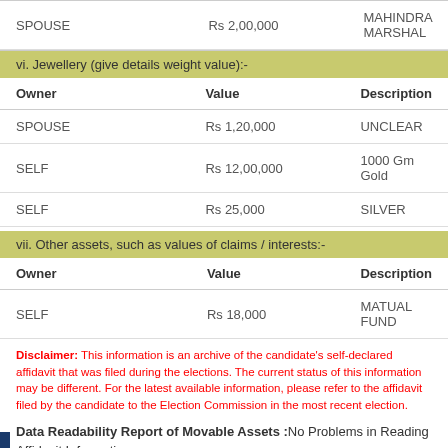| Owner | Value | Description |
| --- | --- | --- |
| SPOUSE | Rs 2,00,000 | MAHINDRA MARSHAL |
vi. Jewellery (give details weight value):-
| Owner | Value | Description |
| --- | --- | --- |
| SPOUSE | Rs 1,20,000 | UNCLEAR |
| SELF | Rs 12,00,000 | 1000 Gm Gold |
| SELF | Rs 25,000 | SILVER |
vii. Other assets, such as values of claims / interests:-
| Owner | Value | Description |
| --- | --- | --- |
| SELF | Rs 18,000 | MATUAL FUND |
Disclaimer: This information is an archive of the candidate's self-declared affidavit that was filed during the elections. The current status of this information may be different. For the latest available information, please refer to the affidavit filed by the candidate to the Election Commission in the most recent election.
Data Readability Report of Movable Assets :No Problems in Reading Affidavit Information